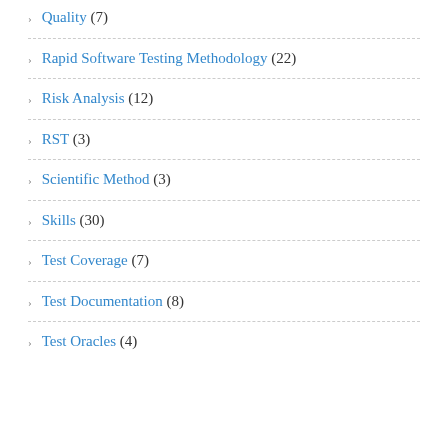Quality (7)
Rapid Software Testing Methodology (22)
Risk Analysis (12)
RST (3)
Scientific Method (3)
Skills (30)
Test Coverage (7)
Test Documentation (8)
Test Oracles (4)